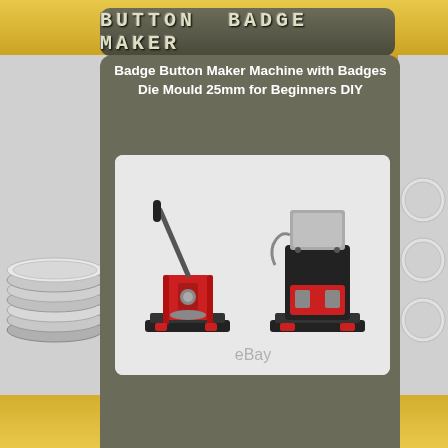BUTTON BADGE MAKER
Pin Badge
Badge Button Maker Machine with Badges Die Mould 25mm for Beginners DIY
[Figure (photo): Two button badge maker machines shown on white background - a red manual press machine on the left and a black/red pneumatic machine on the right, with eBay watermark]
[Figure (photo): Silver metal pin back buttons/badges arranged in stacks on left and right sides of the page background]